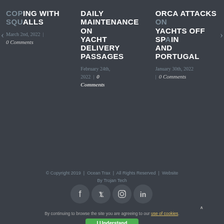COPING WITH SQUALLS
March 2nd, 2022 | 0 Comments
DAILY MAINTENANCE ON YACHT DELIVERY PASSAGES
February 24th, 2022 | 0 Comments
ORCA ATTACKS ON YACHTS OFF SPAIN AND PORTUGAL
January 30th, 2022 | 0 Comments
© Copyright 2019 | Ocean Trax | All Rights Reserved | Website By Trojan Tech
[Figure (other): Social media icons: Facebook, Twitter, Instagram, LinkedIn]
By continuing to browse the site you are agreeing to our use of cookies.
I Understand